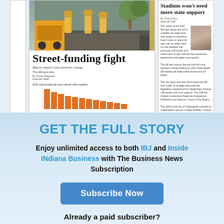[Figure (screenshot): Newspaper front page preview showing 'Street-funding fight' headline with workers photo and bar chart, plus sidebar showing 'Stadium won't need more state support' story]
GET THE FULL STORY
Enjoy unlimited access to both IBJ and Inside INdiana Business with The Business News Subscription
Subscribe Now
Already a paid subscriber?
Log In